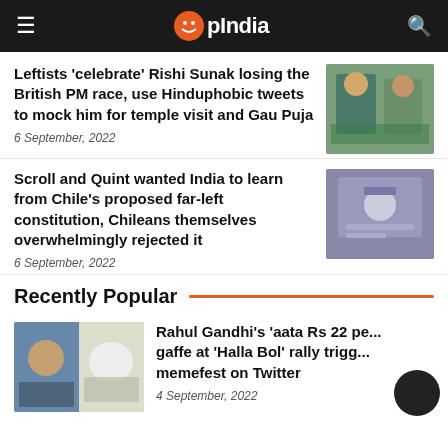OpIndia
Leftists ‘celebrate’ Rishi Sunak losing the British PM race, use Hinduphobic tweets to mock him for temple visit and Gau Puja
6 September, 2022
Scroll and Quint wanted India to learn from Chile’s proposed far-left constitution, Chileans themselves overwhelmingly rejected it
6 September, 2022
Recently Popular
Rahul Gandhi’s ‘aata Rs 22 pe...’ gaffe at ‘Halla Bol’ rally trigg... memefest on Twitter
4 September, 2022